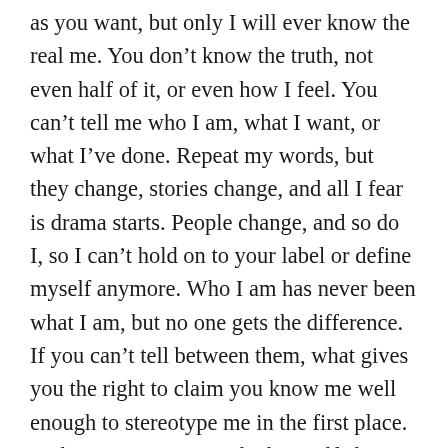as you want, but only I will ever know the real me. You don't know the truth, not even half of it, or even how I feel. You can't tell me who I am, what I want, or what I've done. Repeat my words, but they change, stories change, and all I fear is drama starts. People change, and so do I, so I can't hold on to your label or define myself anymore. Who I am has never been what I am, but no one gets the difference. If you can't tell between them, what gives you the right to claim you know me well enough to stereotype me in the first place. In the mirror, I've watched myself change, and through my dreams, I've felt it. I can't hold on anymore, I've broken my self-image, and all for some words that mixed up my intentions to smile. Facing my image and my dreams has lost me in all this confusion. I can't hold on to who I was, and I can only hope that they understand. Seeing myself change